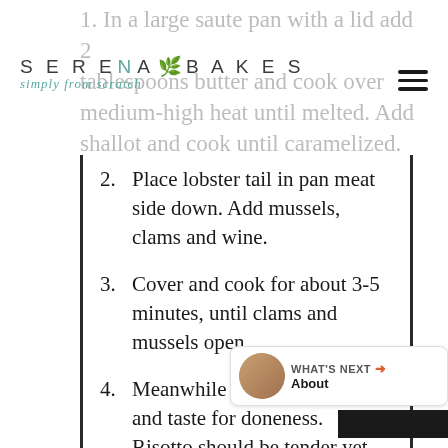SERENA BAKES simply from scratch
1. In a large saute pan with a lid add 2 tablespoons butter and cook over medium-high heat until melted. Add shallot and cook until caramelized.
2. Place lobster tail in pan meat side down. Add mussels, clams and wine.
3. Cover and cook for about 3-5 minutes, until clams and mussels open.
4. Meanwhile return to risotto and taste for doneness. Risotto should be tender yet firm when done. Add addition stock and cook over medium heat until desired doneness is achieved. Once tender add 1 tablespoon butter and parmesan cheese. Stir until creamy. Cover and